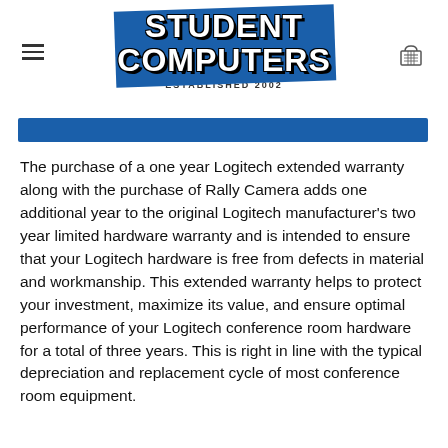STUDENT COMPUTERS — ESTABLISHED 2002
The purchase of a one year Logitech extended warranty along with the purchase of Rally Camera adds one additional year to the original Logitech manufacturer's two year limited hardware warranty and is intended to ensure that your Logitech hardware is free from defects in material and workmanship. This extended warranty helps to protect your investment, maximize its value, and ensure optimal performance of your Logitech conference room hardware for a total of three years. This is right in line with the typical depreciation and replacement cycle of most conference room equipment.